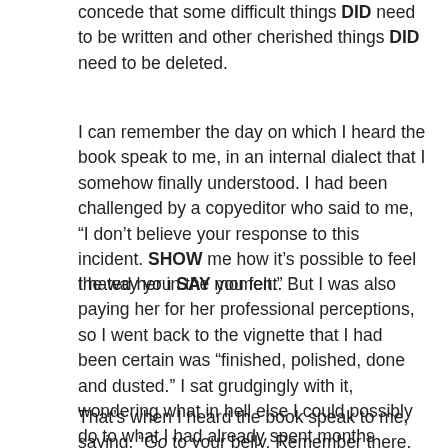concede that some difficult things DID need to be written and other cherished things DID need to be deleted.
I can remember the day on which I heard the book speak to me, in an internal dialect that I somehow finally understood. I had been challenged by a copyeditor who said to me, “I don’t believe your response to this incident. SHOW me how it’s possible to feel the way you SAY you felt.”
I hated her in the moment. But I was also paying her for her professional perceptions, so I went back to the vignette that I had been certain was “finished, polished, done and dusted.” I sat grudgingly with it, wondering what in hell else I could possibly do to what I had already spent months perfecting.
That’s when I heard the book speak to me, saying, “Go to your belly. Remember there. Listen there. Bring THOSE